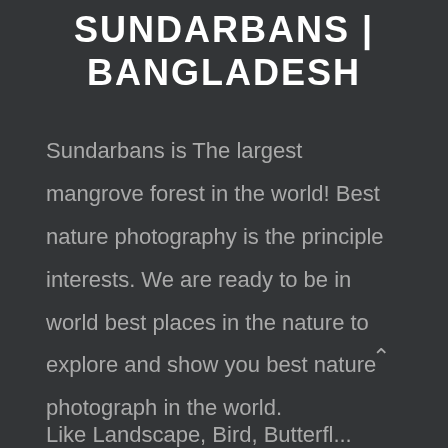SUNDARBANS | BANGLADESH
Sundarbans is The largest mangrove forest in the world! Best nature photography is the principle interests. We are ready to be in world best places in the nature to explore and show you best nature photograph in the world.
Like Landscape, Bird, Butterfly...